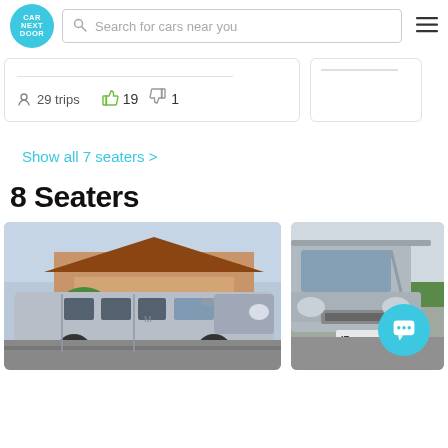CAR NEXT DOOR
Search for cars near you
29 trips  👍 19  👎 1
Show all 7 seaters >
8 Seaters
[Figure (photo): Silver Hyundai iMax or similar large van parked on a suburban street, side view, with a brick house in the background]
[Figure (photo): Silver van front/side view in a parking area, with a teal chat bubble overlay icon in the lower right and partial license plate 'IR' visible]